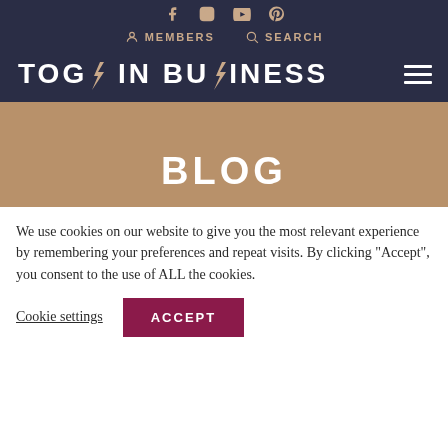Social icons: Facebook, Instagram, YouTube, Pinterest
MEMBERS  SEARCH
TOGS IN BUSINESS
BLOG
We use cookies on our website to give you the most relevant experience by remembering your preferences and repeat visits. By clicking “Accept”, you consent to the use of ALL the cookies.
Cookie settings  ACCEPT